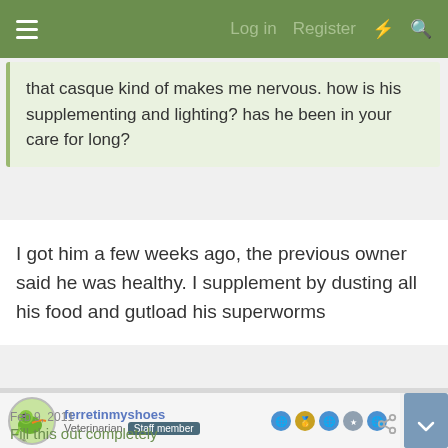Log in   Register
that casque kind of makes me nervous. how is his supplementing and lighting? has he been in your care for long?
I got him a few weeks ago, the previous owner said he was healthy. I supplement by dusting all his food and gutload his superworms
ferretinmyshoes  Veterinarian  Staff member
Feb 9, 2011
Fill this out completely